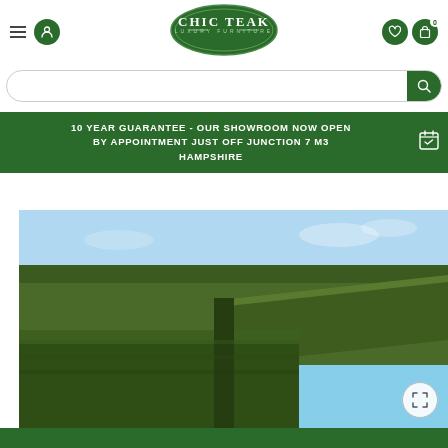[Figure (logo): Chic Teak Luxury Furniture oval green logo]
[Figure (screenshot): Website header with hamburger menu, user icon, search bar, green promotional banner saying '10 YEAR GUARANTEE - OUR SHOWROOM NOW OPEN BY APPOINTMENT JUST OFF JUNCTION 7 M3 HAMPSHIRE', and a partial product photo of shaped green hedges/topiary against blue sky]
10 YEAR GUARANTEE - OUR SHOWROOM NOW OPEN BY APPOINTMENT JUST OFF JUNCTION 7 M3 HAMPSHIRE